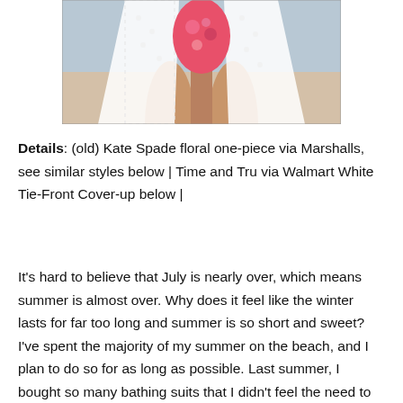[Figure (photo): Photo of a person's lower body at the beach, wearing a floral one-piece swimsuit and a white lace tie-front cover-up. Sandy beach visible in background.]
Details: (old) Kate Spade floral one-piece via Marshalls, see similar styles below | Time and Tru via Walmart White Tie-Front Cover-up below |
It's hard to believe that July is nearly over, which means summer is almost over. Why does it feel like the winter lasts for far too long and summer is so short and sweet? I've spent the majority of my summer on the beach, and I plan to do so for as long as possible. Last summer, I bought so many bathing suits that I didn't feel the need to buy